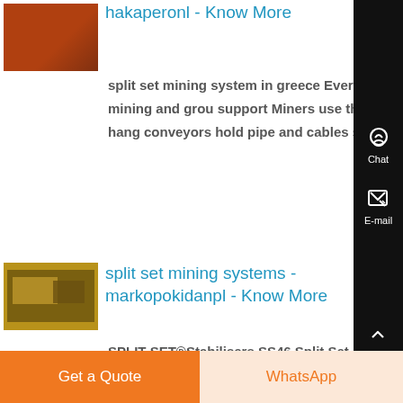hakaperonl - Know More
split set mining system in greece Every kind of underground mine uses Split Set friction rock bolts for mining and ground support Miners use them for mine roof bolting and mine roof support as well as to pin mesh hang conveyors hold pipes and cables secure rails in ,...
[Figure (photo): Thumbnail image of industrial/mining equipment - orange tones]
split set mining systems - markopokidanpl - Know More
SPLIT SET®Stabilisers SS46 Split Set